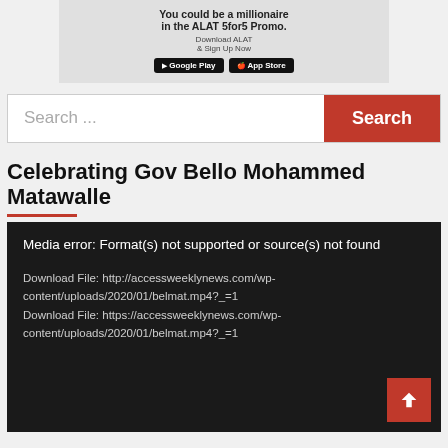[Figure (infographic): ALAT 5for5 Promo advertisement banner with Google Play and App Store badges. Text: 'You could be a millionaire in the ALAT 5for5 Promo. Download ALAT & Sign Up Now']
Search ...
Search
Celebrating Gov Bello Mohammed Matawalle
Media error: Format(s) not supported or source(s) not found
Download File: http://accessweeklynews.com/wp-content/uploads/2020/01/belmat.mp4?_=1
Download File: https://accessweeklynews.com/wp-content/uploads/2020/01/belmat.mp4?_=1